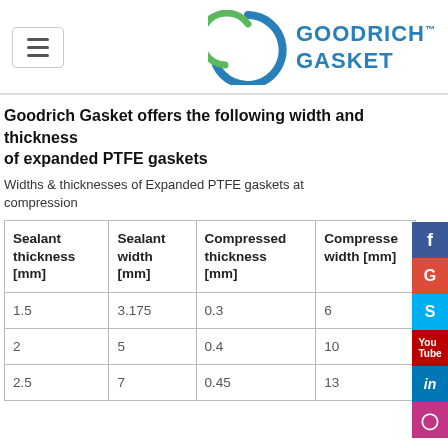[Figure (logo): Goodrich Gasket logo with green and blue G icon and company name in blue text]
Goodrich Gasket offers the following width and thickness of expanded PTFE gaskets
Widths & thicknesses of Expanded PTFE gaskets at compression
| Sealant thickness [mm] | Sealant width [mm] | Compressed thickness [mm] | Compressed width [mm] |
| --- | --- | --- | --- |
| 1.5 | 3.175 | 0.3 | 6 |
| 2 | 5 | 0.4 | 10 |
| 2.5 | 7 | 0.45 | 13 |